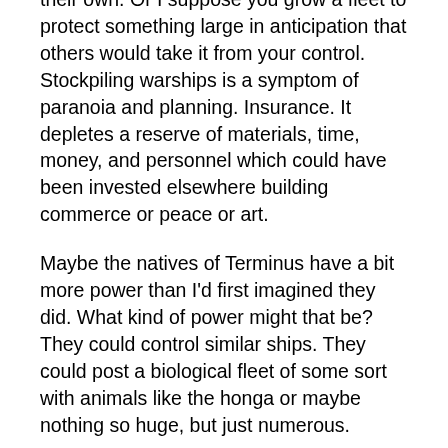their own. Or I suppose you grow a fleet to protect something large in anticipation that others would take it from your control. Stockpiling warships is a symptom of paranoia and planning. Insurance. It depletes a reserve of materials, time, money, and personnel which could have been invested elsewhere building commerce or peace or art.
Maybe the natives of Terminus have a bit more power than I'd first imagined they did. What kind of power might that be? They could control similar ships. They could post a biological fleet of some sort with animals like the honga or maybe nothing so huge, but just numerous.
My thoughts keep drifting to the planet excuse for answering this question of opposition. If I put these guys on a planet in a Star Wars-like universe I could just make this resource of flying material like spice on Dune or some such thing. Make these guys on Terminus the